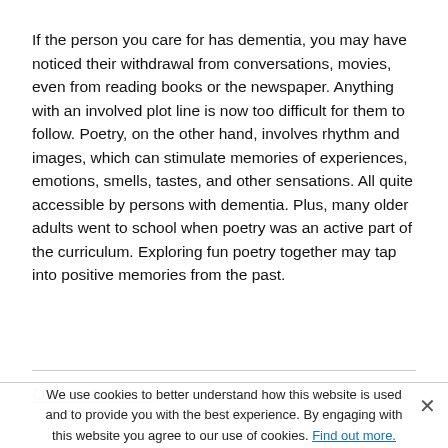If the person you care for has dementia, you may have noticed their withdrawal from conversations, movies, even from reading books or the newspaper. Anything with an involved plot line is now too difficult for them to follow. Poetry, on the other hand, involves rhythm and images, which can stimulate memories of experiences, emotions, smells, tastes, and other sensations. All quite accessible by persons with dementia. Plus, many older adults went to school when poetry was an active part of the curriculum. Exploring fun poetry together may tap into positive memories from the past.
Organ donation
We use cookies to better understand how this website is used and to provide you with the best experience. By engaging with this website you agree to our use of cookies. Find out more.